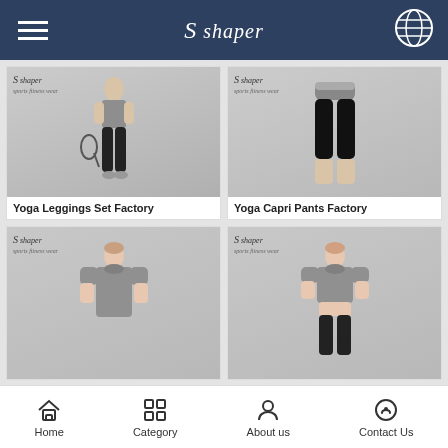S shaper — navigation bar with hamburger menu and globe icon
[Figure (photo): Woman wearing sports bra and black yoga leggings holding tennis racket, with S shaper brand watermark]
Yoga Leggings Set Factory
[Figure (photo): Woman's lower body wearing black yoga capri pants with gray waistband, with S shaper brand watermark]
Yoga Capri Pants Factory
[Figure (photo): Woman wearing gray heather short sleeve athletic t-shirt, with S shaper brand watermark]
[Figure (photo): Woman wearing gray heather short sleeve crop athletic t-shirt with black leggings, with S shaper brand watermark]
Home  Category  About us  Contact Us